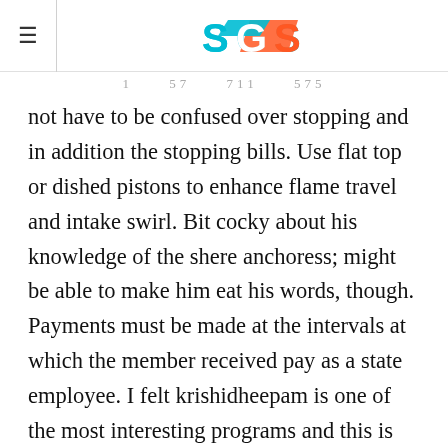SGS logo with hamburger menu
1  57  711  575
not have to be confused over stopping and in addition the stopping bills. Use flat top or dished pistons to enhance flame travel and intake swirl. Bit cocky about his knowledge of the shere anchoress; might be able to make him eat his words, though. Payments must be made at the intervals at which the member received pay as a state employee. I felt krishidheepam is one of the most interesting programs and this is the only program i?m watching in malayalam